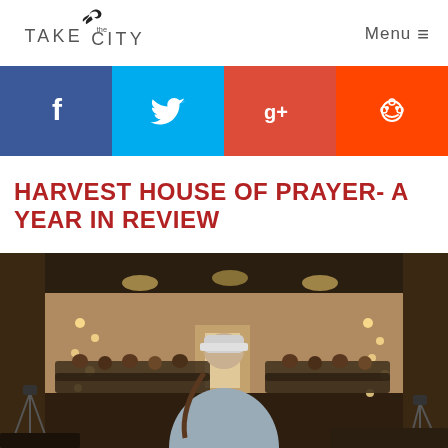TAKE THE CITY | Menu ≡
[Figure (infographic): Social media share buttons: Facebook (dark blue), Twitter (light blue), Google+ (red), Reddit (orange-red)]
HARVEST HOUSE OF PRAYER- A YEAR IN REVIEW
[Figure (photo): Interior of a prayer house/church with a musician seen from behind wearing a cap and guitar strap, facing rows of seated people, with decorative string lights on the walls]